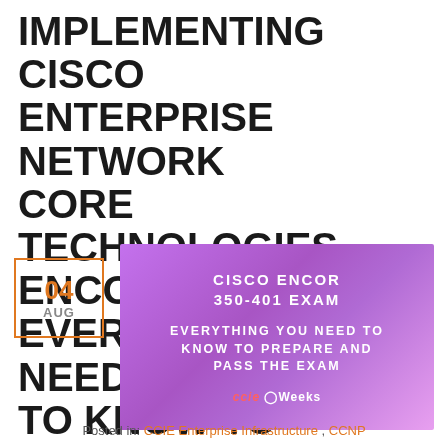IMPLEMENTING CISCO ENTERPRISE NETWORK CORE TECHNOLOGIES ENCOR 350-401: EVERYTHING YOU NEED TO KNOW TO PREPARE AND PASS THE EXAM
[Figure (illustration): Date badge showing '04 AUG' in orange with an orange border square, and a purple gradient image banner with white text reading 'CISCO ENCOR 350-401 EXAM' and 'EVERYTHING YOU NEED TO KNOW TO PREPARE AND PASS THE EXAM' with CCIEWeeks logo at bottom]
Posted in: CCIE Enterprise Infrastructure , CCNP